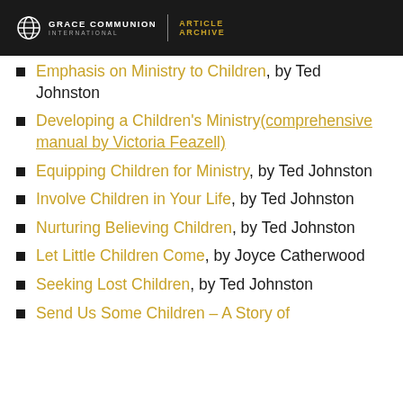GRACE COMMUNION INTERNATIONAL | ARTICLE ARCHIVE
Emphasis on Ministry to Children, by Ted Johnston
Developing a Children's Ministry(comprehensive manual by Victoria Feazell)
Equipping Children for Ministry, by Ted Johnston
Involve Children in Your Life, by Ted Johnston
Nurturing Believing Children, by Ted Johnston
Let Little Children Come, by Joyce Catherwood
Seeking Lost Children, by Ted Johnston
Send Us Some Children – A Story of...